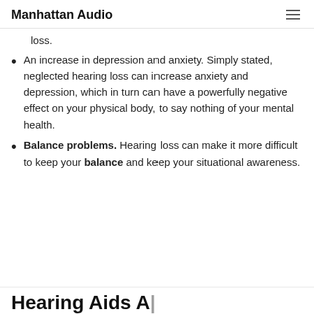Manhattan Audio
loss.
An increase in depression and anxiety. Simply stated, neglected hearing loss can increase anxiety and depression, which in turn can have a powerfully negative effect on your physical body, to say nothing of your mental health.
Balance problems. Hearing loss can make it more difficult to keep your balance and keep your situational awareness.
Hearing Aids A...